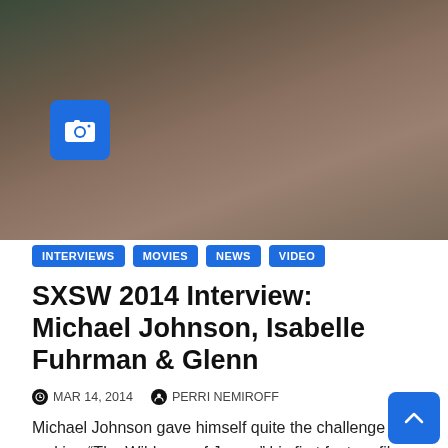[Figure (photo): Dark moody photo of a person's face/hand close-up with camera icon overlay badge]
INTERVIEWS
MOVIES
NEWS
VIDEO
SXSW 2014 Interview: Michael Johnson, Isabelle Fuhrman & Glenn
MAR 14, 2014   PERRI NEMIROFF
Michael Johnson gave himself quite the challenge making “The Wildness of James” his first feature film. Even though it does…